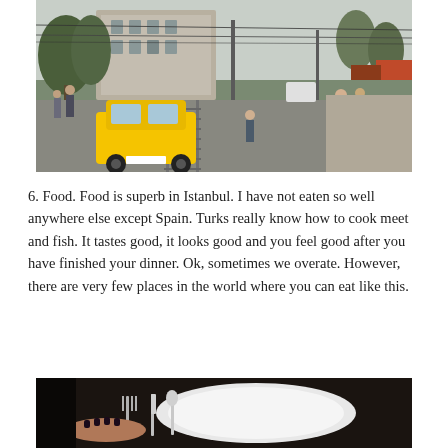[Figure (photo): Street scene in Istanbul with a yellow taxi in the foreground, tram tracks on the road, pedestrians walking on sidewalks, trees, overhead electric wires, and historic buildings in the background under a cloudy sky.]
6. Food. Food is superb in Istanbul. I have not eaten so well anywhere else except Spain. Turks really know how to cook meet and fish. It tastes good, it looks good and you feel good after you have finished your dinner. Ok, sometimes we overate. However, there are very few places in the world where you can eat like this.
[Figure (photo): Close-up photo of hands with dark nail polish holding silverware (fork and knife) near a white plate on a dark background.]